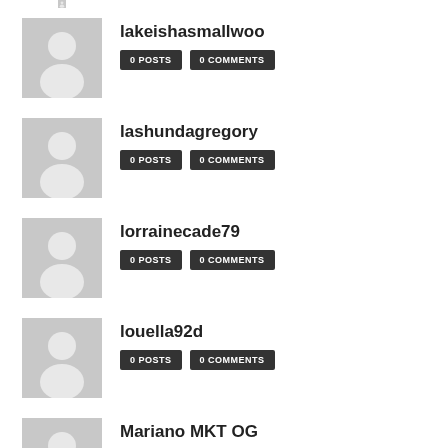lakeishasmallwoo — 0 POSTS, 0 COMMENTS
lashundagregory — 0 POSTS, 0 COMMENTS
lorrainecade79 — 0 POSTS, 0 COMMENTS
louella92d — 0 POSTS, 0 COMMENTS
Mariano MKT OG — 0 POSTS, 0 COMMENTS